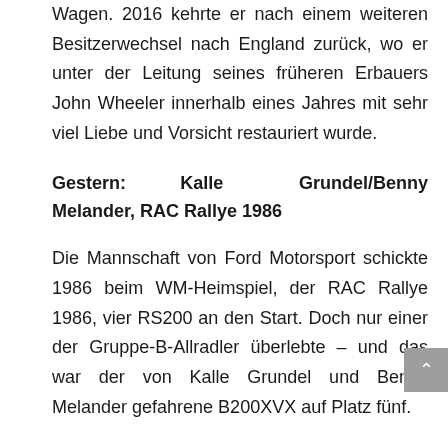Wagen. 2016 kehrte er nach einem weiteren Besitzerwechsel nach England zurück, wo er unter der Leitung seines früheren Erbauers John Wheeler innerhalb eines Jahres mit sehr viel Liebe und Vorsicht restauriert wurde.
Gestern: Kalle Grundel/Benny Melander, RAC Rallye 1986
Die Mannschaft von Ford Motorsport schickte 1986 beim WM-Heimspiel, der RAC Rallye 1986, vier RS200 an den Start. Doch nur einer der Gruppe-B-Allradler überlebte – und das war der von Kalle Grundel und Benny Melander gefahrene B200XVX auf Platz fünf.